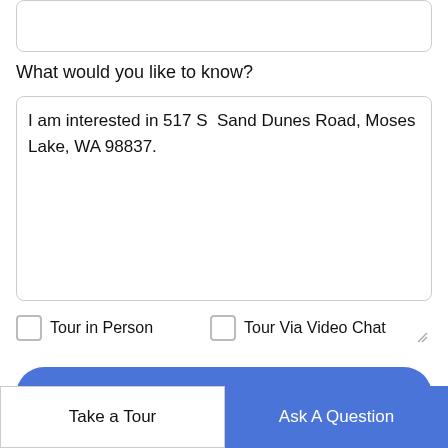[Figure (other): Empty text input box at top of page]
What would you like to know?
I am interested in 517 S  Sand Dunes Road, Moses Lake, WA 98837.
Tour in Person
Tour Via Video Chat
Submit
Disclaimer: By entering your information and submitting this form, you agree to our Terms of Use and Privacy Policy and that you may be contacted by
Take a Tour
Ask A Question